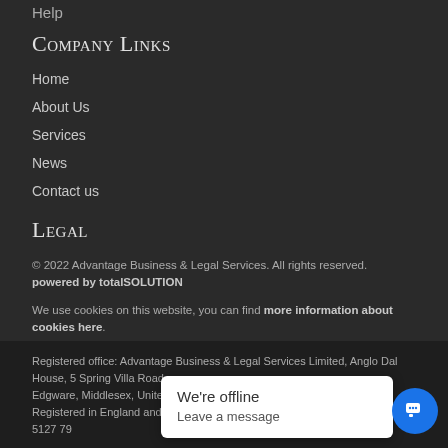Help
Company Links
Home
About Us
Services
News
Contact us
Legal
© 2022 Advantage Business & Legal Services. All rights reserved. powered by totalSOLUTION
We use cookies on this website, you can find more information about cookies here.
Registered office: Advantage Business & Legal Services Limited, Anglo Dal House, 5 Spring Villa Road, Edgware, Middlesex, United Kingdom, HA8 7EB
Registered in England and Wales. Company No: 10409937. VAT No.: 286 5127 79
[Figure (screenshot): Chat widget showing 'We're offline' and 'Leave a message' popup with blue chat bubble icon]